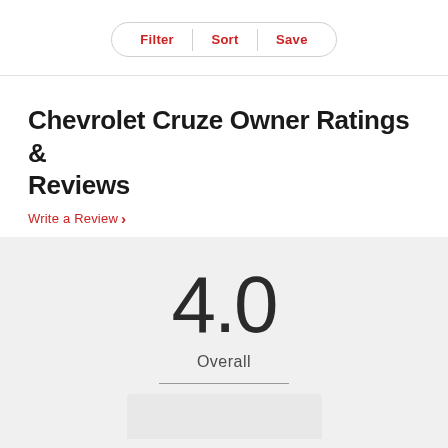Filter | Sort | Save
Chevrolet Cruze Owner Ratings & Reviews
Write a Review >
4.0 Overall